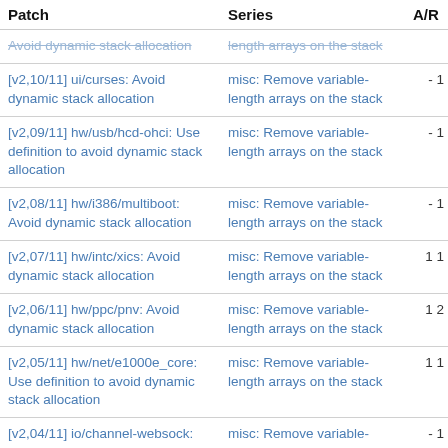| Patch | Series | A/R |
| --- | --- | --- |
| Avoid dynamic stack allocation | length arrays on the stack |  |
| [v2,10/11] ui/curses: Avoid dynamic stack allocation | misc: Remove variable-length arrays on the stack | - 1 |
| [v2,09/11] hw/usb/hcd-ohci: Use definition to avoid dynamic stack allocation | misc: Remove variable-length arrays on the stack | - 1 |
| [v2,08/11] hw/i386/multiboot: Avoid dynamic stack allocation | misc: Remove variable-length arrays on the stack | - 1 |
| [v2,07/11] hw/intc/xics: Avoid dynamic stack allocation | misc: Remove variable-length arrays on the stack | 1 1 |
| [v2,06/11] hw/ppc/pnv: Avoid dynamic stack allocation | misc: Remove variable-length arrays on the stack | 1 2 |
| [v2,05/11] hw/net/e1000e_core: Use definition to avoid dynamic stack allocation | misc: Remove variable-length arrays on the stack | 1 1 |
| [v2,04/11] io/channel-websock: Replace strlen(const_str) by sizeof(const_str) - 1 | misc: Remove variable-length arrays on the stack | - 1 |
| [v2,03/11] chardev/baum: Avoid dynamic stack allocation | misc: Remove variable-length arrays on the stack | - 2 |